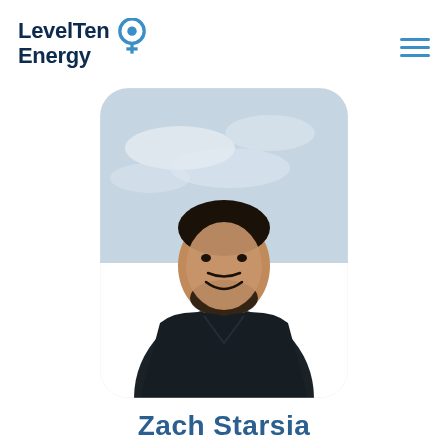LevelTen Energy
[Figure (photo): Headshot photo of a smiling man with dark hair and beard, wearing a dark jacket, with a cloudy sky background. Photo has rounded corners.]
Zach Starsia